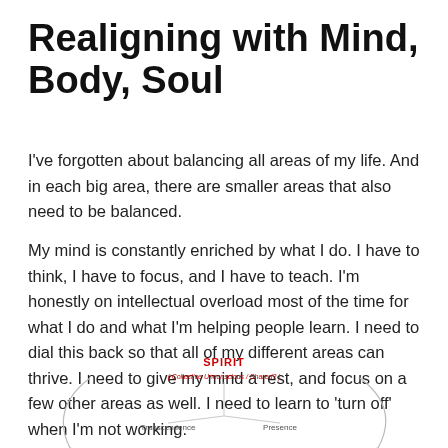Realigning with Mind, Body, Soul
I've forgotten about balancing all areas of my life. And in each big area, there are smaller areas that also need to be balanced.
My mind is constantly enriched by what I do. I have to think, I have to focus, and I have to teach. I'm honestly on intellectual overload most of the time for what I do and what I'm helping people learn. I need to dial this back so that all of my different areas can thrive. I need to give my mind a rest, and focus on a few other areas as well. I need to learn to 'turn off' when I'm not working.
[Figure (other): Partial diagram showing a spiritual/mind-body-soul concept map with the word SPIRIT in red at the top, with labels including 'Collective Unconscious / Shared?' and 'Transcendence' and 'Presence' below it, with curved lines suggesting a circular or oval diagram.]